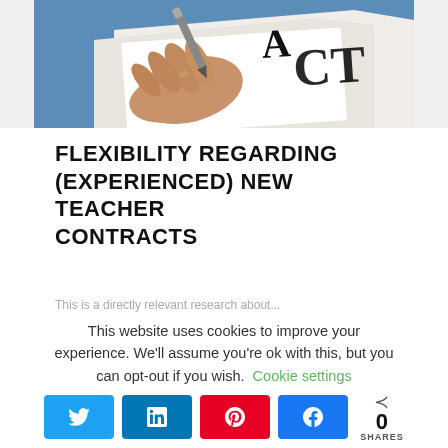[Figure (photo): Hand holding a pen signing or writing on a document/contract, with blue background. Text 'ACT' partially visible on the document.]
FLEXIBILITY REGARDING (EXPERIENCED) NEW TEACHER CONTRACTS
This is a partially obscured text preview line at the bottom of the article.
This website uses cookies to improve your experience. We'll assume you're ok with this, but you can opt-out if you wish. Cookie settings
0 SHARES